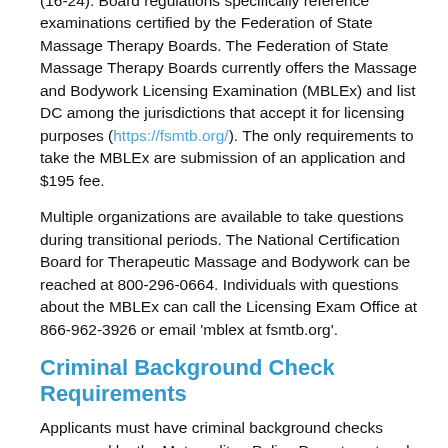(16-24). Board regulations specifically reference examinations certified by the Federation of State Massage Therapy Boards. The Federation of State Massage Therapy Boards currently offers the Massage and Bodywork Licensing Examination (MBLEx) and list DC among the jurisdictions that accept it for licensing purposes (https://fsmtb.org/). The only requirements to take the MBLEx are submission of an application and $195 fee.
Multiple organizations are available to take questions during transitional periods. The National Certification Board for Therapeutic Massage and Bodywork can be reached at 800-296-0664. Individuals with questions about the MBLEx can call the Licensing Exam Office at 866-962-3926 or email 'mblex at fsmtb.org'.
Criminal Background Check Requirements
Applicants must have criminal background checks processed by the Metropolitan Police Department and the FBI (http://doh.dc.gov Background).
The DC Department of Health contracts with Morphotrust (formerly L-1) for Livescan (electronic) fingerprinting services. Applicants may schedule online or call 877-783-4187. There